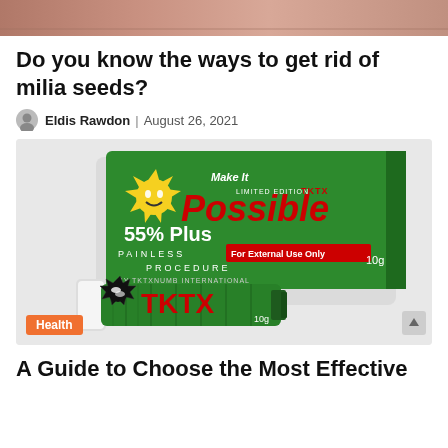[Figure (photo): Top banner photo of skin close-up (milia seeds related), cropped strip]
Do you know the ways to get rid of milia seeds?
Eldis Rawdon | August 26, 2021
[Figure (photo): TKTX numbing cream product image showing green box labeled 'Make It Possible 55% Plus Painless Procedure For External Use Only 10g LIMITED EDITION TKTX BY TKTXNUMB INTERNATIONAL' and a green tube labeled TKTX 10g]
Health
A Guide to Choose the Most Effective